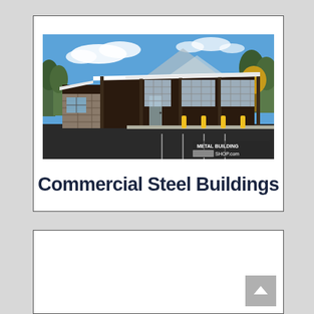[Figure (illustration): 3D rendering of a commercial steel building with dark brown metal siding, stone facade accents, large glass garage doors, yellow bollards in parking lot, trees and mountain backdrop. Watermark reads METAL BUILDING SHOP.com]
Commercial Steel Buildings
[Figure (other): Second card panel (partially visible, blank white area with scroll-to-top button in bottom right corner)]